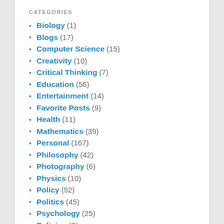CATEGORIES
Biology (1)
Blogs (17)
Computer Science (15)
Creativity (10)
Critical Thinking (7)
Education (56)
Entertainment (14)
Favorite Posts (9)
Health (11)
Mathematics (39)
Personal (167)
Philosophy (42)
Photography (6)
Physics (10)
Policy (52)
Politics (45)
Psychology (25)
Religion (9)
Society (68)
Sport (7)